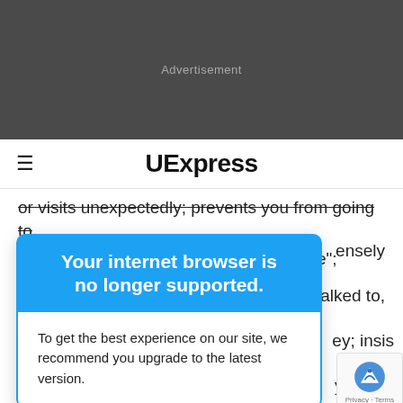[Figure (screenshot): Dark gray advertisement banner area with 'Advertisement' label in the center]
UExpress
or visits unexpectedly; prevents you from going to work because "you might meet someone"; checks the
[Figure (screenshot): Browser upgrade popup overlay with blue header reading 'Your internet browser is no longer supported.' and white body reading 'To get the best experience on our site, we recommend you upgrade to the latest version.']
ensely ou talked to, ey; insis ything.